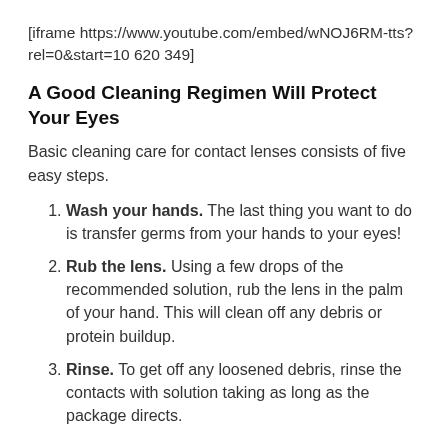[iframe https://www.youtube.com/embed/wNOJ6RM-tts?rel=0&start=10 620 349]
A Good Cleaning Regimen Will Protect Your Eyes
Basic cleaning care for contact lenses consists of five easy steps.
Wash your hands. The last thing you want to do is transfer germs from your hands to your eyes!
Rub the lens. Using a few drops of the recommended solution, rub the lens in the palm of your hand. This will clean off any debris or protein buildup.
Rinse. To get off any loosened debris, rinse the contacts with solution taking as long as the package directs.